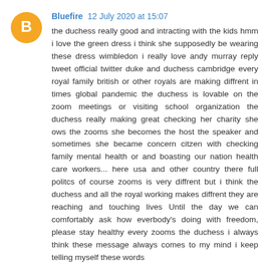Bluefire 12 July 2020 at 15:07
the duchess really good and intracting with the kids hmm i love the green dress i think she supposedly be wearing these dress wimbledon i really love andy murray reply tweet official twitter duke and duchess cambridge every royal family british or other royals are making diffrent in times global pandemic the duchess is lovable on the zoom meetings or visiting school organization the duchess really making great checking her charity she ows the zooms she becomes the host the speaker and sometimes she became concern citzen with checking family mental health or and boasting our nation health care workers... here usa and other country there full politcs of course zooms is very diffrent but i think the duchess and all the royal working makes diffrent they are reaching and touching lives Until the day we can comfortably ask how everbody's doing with freedom, please stay healthy every zooms the duchess i always think these message always comes to my mind i keep telling myself these words
Reply